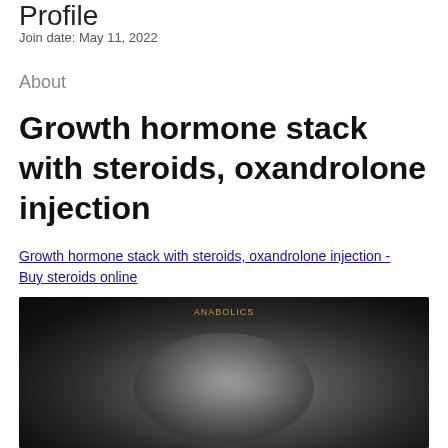Profile
Join date: May 11, 2022
About
Growth hormone stack with steroids, oxandrolone injection
Growth hormone stack with steroids, oxandrolone injection - Buy steroids online
[Figure (photo): Dark blurred image, likely a bodybuilding or fitness-related photograph with a small golden text label near the top center.]